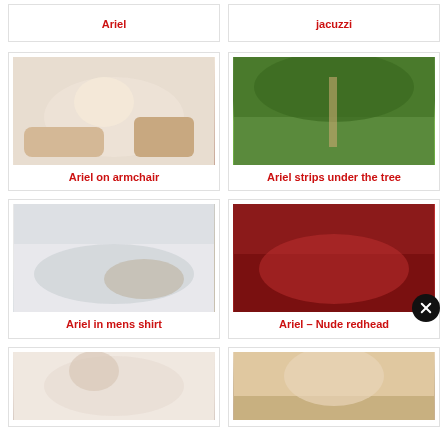Ariel
jacuzzi
[Figure (photo): Woman on armchair]
Ariel on armchair
[Figure (photo): Woman outdoors under a tree]
Ariel strips under the tree
[Figure (photo): Woman in mens shirt lying down]
Ariel in mens shirt
[Figure (photo): Woman on red background]
Ariel – Nude redhead
[Figure (photo): Woman in bathtub]
[Figure (photo): Woman at fence]